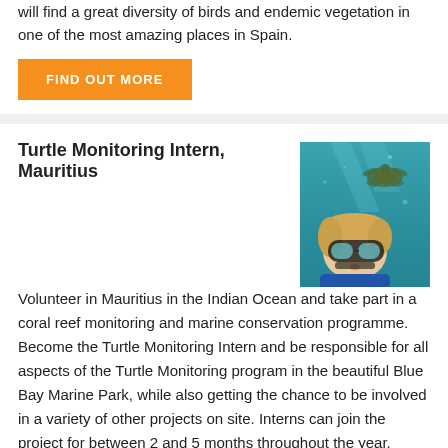will find a great diversity of birds and endemic vegetation in one of the most amazing places in Spain.
FIND OUT MORE
Turtle Monitoring Intern, Mauritius
[Figure (photo): Underwater photo of a snorkeler/diver in a blue wetsuit viewed from below, with sea turtle visible in turquoise water]
Volunteer in Mauritius in the Indian Ocean and take part in a coral reef monitoring and marine conservation programme. Become the Turtle Monitoring Intern and be responsible for all aspects of the Turtle Monitoring program in the beautiful Blue Bay Marine Park, while also getting the chance to be involved in a variety of other projects on site. Interns can join the project for between 2 and 5 months throughout the year.
FIND OUT MORE